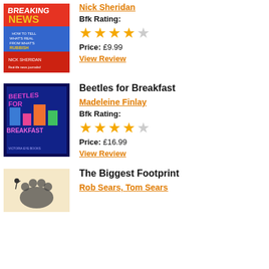[Figure (illustration): Book cover for Breaking News: How to Tell What's Real from What's Rubbish by Nick Sheridan]
Nick Sheridan
Bfk Rating:
[Figure (infographic): 4 out of 5 stars rating]
Price: £9.99
View Review
Beetles for Breakfast
[Figure (illustration): Book cover for Beetles for Breakfast by Madeleine Finlay]
Madeleine Finlay
Bfk Rating:
[Figure (infographic): 4 out of 5 stars rating]
Price: £16.99
View Review
The Biggest Footprint
[Figure (illustration): Book cover for The Biggest Footprint]
Rob Sears, Tom Sears